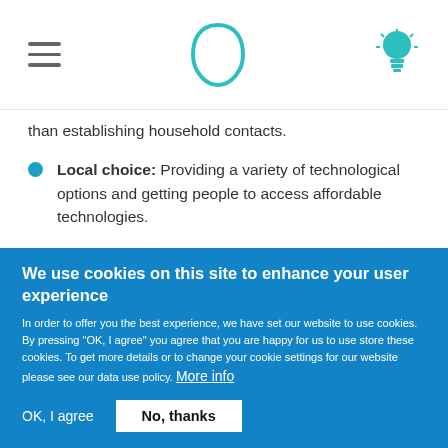Navigation bar with hamburger menu, logo (teardrop shape), and lightbulb icon
than establishing household contacts.
Local choice: Providing a variety of technological options and getting people to access affordable technologies.
Setting up proper institutional frameworks institutional framework: Giving local governments a central role in scaling up and sustainability
We use cookies on this site to enhance your user experience
In order to offer you the best experience, we have set our website to use cookies. By pressing "OK, I agree" you agree that you are happy for us to use store these cookies. To get more details or to change your cookie settings for our website please see our data use policy. More info
OK, I agree   No, thanks